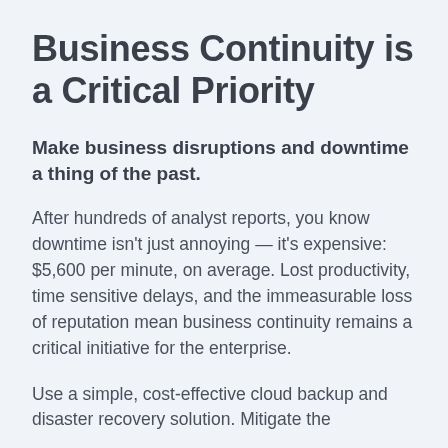Business Continuity is a Critical Priority
Make business disruptions and downtime a thing of the past.
After hundreds of analyst reports, you know downtime isn't just annoying — it's expensive: $5,600 per minute, on average. Lost productivity, time sensitive delays, and the immeasurable loss of reputation mean business continuity remains a critical initiative for the enterprise.
Use a simple, cost-effective cloud backup and disaster recovery solution. Mitigate the